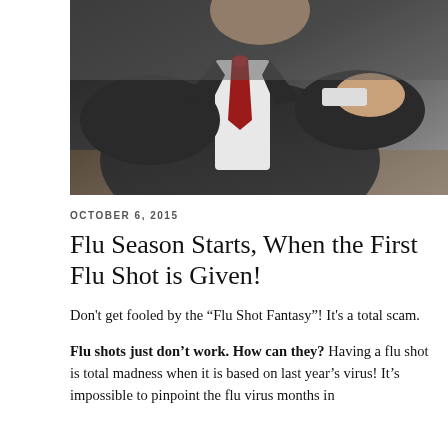[Figure (photo): A man in a dark suit and red tie appearing to roll up his sleeve, suggesting receiving a flu shot or injection]
OCTOBER 6, 2015
Flu Season Starts, When the First Flu Shot is Given!
Don't get fooled by the “Flu Shot Fantasy”! It's a total scam.
Flu shots just don’t work. How can they? Having a flu shot is total madness when it is based on last year’s virus! It’s impossible to pinpoint the flu virus months in